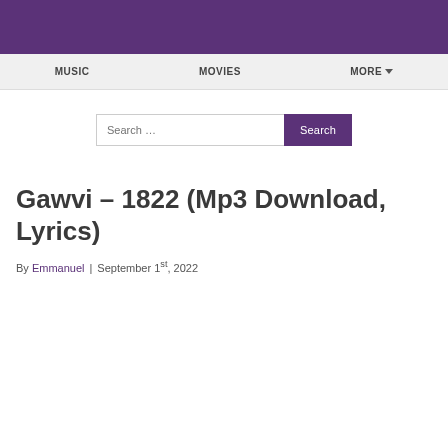MUSIC   MOVIES   MORE
Search ...
Gawvi – 1822 (Mp3 Download, Lyrics)
By Emmanuel | September 1st, 2022